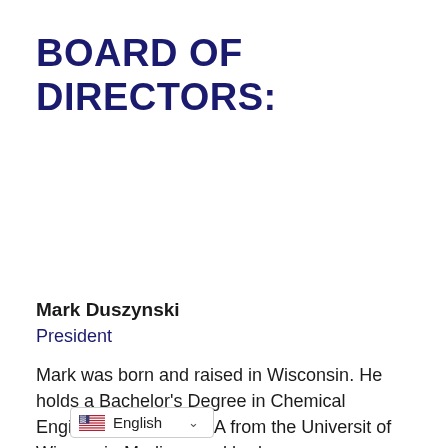BOARD OF DIRECTORS:
Mark Duszynski
President
Mark was born and raised in Wisconsin. He holds a Bachelor's Degree in Chemical Engineering and a MBA from the University of Wisconsin-Madison and ha[d] study at the Stanford